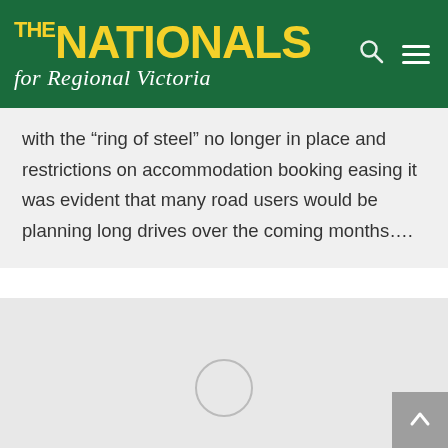THE NATIONALS for Regional Victoria
with the “ring of steel” no longer in place and restrictions on accommodation booking easing it was evident that many road users would be planning long drives over the coming months....
[Figure (other): Grey placeholder area with a loading circle indicator and a scroll-to-top button in the bottom right corner]